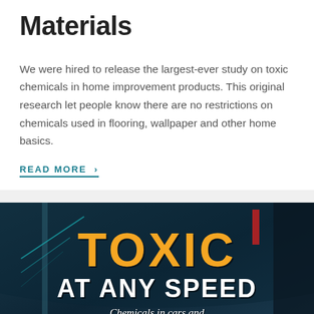Materials
We were hired to release the largest-ever study on toxic chemicals in home improvement products. This original research let people know there are no restrictions on chemicals used in flooring, wallpaper and other home basics.
READ MORE ›
[Figure (photo): Book cover image showing 'TOXIC AT ANY SPEED — Chemicals in cars and' text over a dark blue background with car interior imagery]